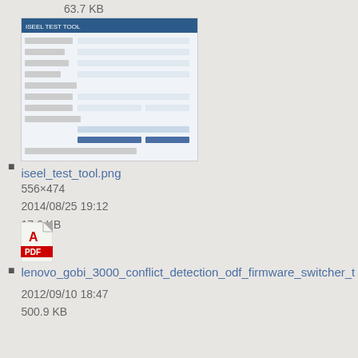63.7 KB
[Figure (screenshot): Thumbnail of iseel_test_tool.png showing a form interface]
iseel_test_tool.png
556×474
2014/08/25 19:12
17.6 KB
[Figure (other): PDF file icon with red Adobe Acrobat logo]
lenovo_gobi_3000_conflict_detection_odf_firmware_switcher_t...
2012/09/10 18:47
500.9 KB
[Figure (other): Location icon - dark square with crosshair/target symbol]
location_icon.png
47×44
2013/08/21 20:16
1.8 KB